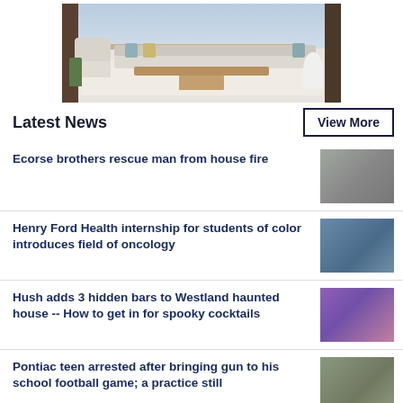[Figure (photo): Advertisement image showing a living room furniture set with sofas, armchair, coffee table, and decorative plants on a rug]
Latest News
View More
Ecorse brothers rescue man from house fire
[Figure (photo): Thumbnail photo of two young men outdoors]
Henry Ford Health internship for students of color introduces field of oncology
[Figure (photo): Thumbnail photo of a person in a medical mask]
Hush adds 3 hidden bars to Westland haunted house -- How to get in for spooky cocktails
[Figure (photo): Thumbnail photo with purple and blue tones, bar setting]
Pontiac teen arrested after bringing gun to his school football game; a practice still